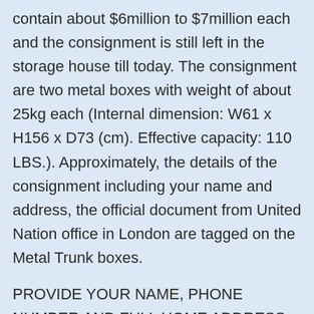contain about $6million to $7million each and the consignment is still left in the storage house till today. The consignment are two metal boxes with weight of about 25kg each (Internal dimension: W61 x H156 x D73 (cm). Effective capacity: 110 LBS.). Approximately, the details of the consignment including your name and address, the official document from United Nation office in London are tagged on the Metal Trunk boxes.
PROVIDE YOUR NAME, PHONE NUMBER AND FULL HOME ADDRESS, TO CROSS CHECK IF IT CORRESPONDS WITH THE NAME AND ADDRESS ON THE CONSIGNMENT INCLUDING THE NAME OF NEAREST AIRPORT AROUND YOUR CITY